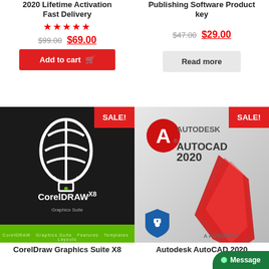2020 Lifetime Activation Fast Delivery
★★★★★
$99.00 $69.00
Add to cart
Publishing Software Product key
$47.00 $29.00
Read more
[Figure (photo): CorelDRAW Graphics Suite X8 software box — black box with green hot air balloon logo, green bottom bar, SALE! badge in red]
CorelDraw Graphics Suite X8
[Figure (photo): Autodesk AutoCAD 2020 software box — light gray with red AutoCAD logo, SALE! badge in red, Message button in green]
Autodesk AutoCAD 2020
Message